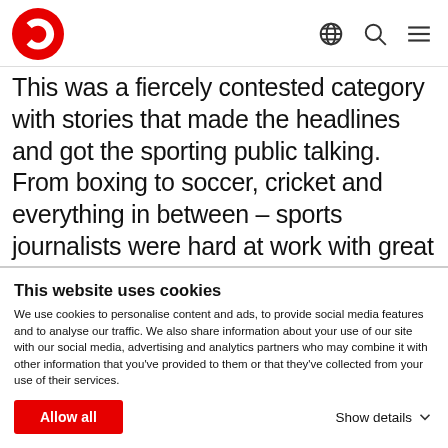Vodafone navigation bar with logo and icons
This was a fiercely contested category with stories that made the headlines and got the sporting public talking. From boxing to soccer, cricket and everything in between – sports journalists were hard at work with great passion and dedication. The winner stood out with her well-produced and very entertaining entry about the Port Elizabeth Aerobatics pilot Patrick Davidson. The winner is...
This website uses cookies
We use cookies to personalise content and ads, to provide social media features and to analyse our traffic. We also share information about your use of our site with our social media, advertising and analytics partners who may combine it with other information that you've provided to them or that they've collected from your use of their services.
Allow all
Show details